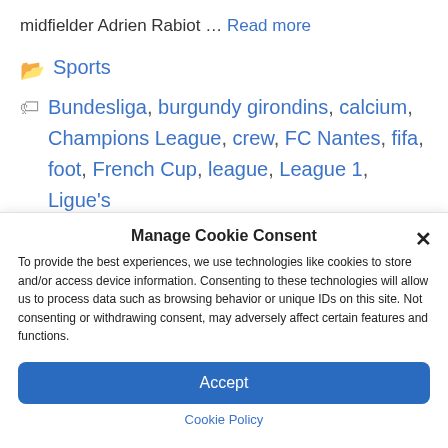midfielder Adrien Rabiot ... Read more
Sports
Bundesliga, burgundy girondins, calcium, Champions League, crew, FC Nantes, fifa, foot, French Cup, league, League 1, Ligue's
Manage Cookie Consent
To provide the best experiences, we use technologies like cookies to store and/or access device information. Consenting to these technologies will allow us to process data such as browsing behavior or unique IDs on this site. Not consenting or withdrawing consent, may adversely affect certain features and functions.
Accept
Cookie Policy